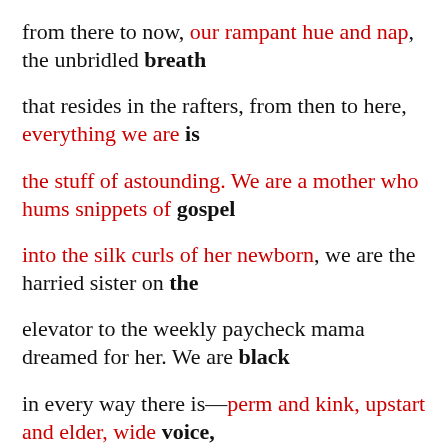from there to now, our rampant hue and nap, the unbridled breath
that resides in the rafters, from then to here, everything we are is
the stuff of astounding. We are a mother who hums snippets of gospel
into the silk curls of her newborn, we are the harried sister on the
elevator to the weekly paycheck mama dreamed for her. We are black
in every way there is—perm and kink, upstart and elder, wide voice,
fervent whisper. We heft our clumsy